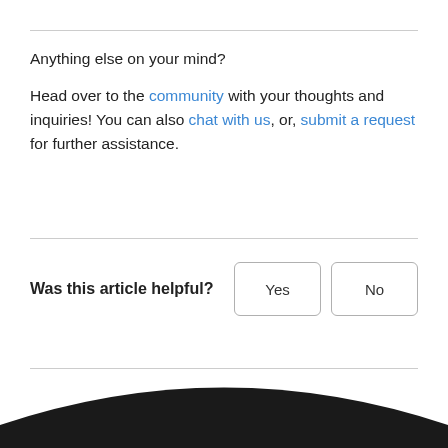Anything else on your mind?
Head over to the community with your thoughts and inquiries! You can also chat with us, or, submit a request for further assistance.
Was this article helpful?  Yes  No